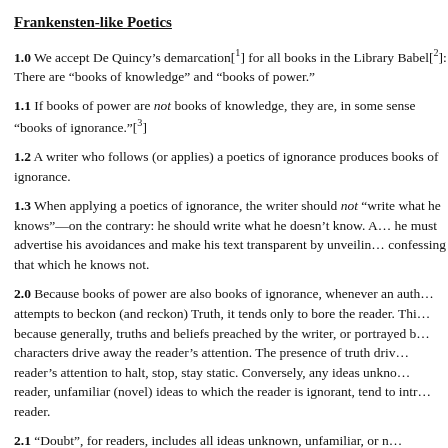Frankensten-like Poetics
1.0 We accept De Quincy’s demarcation[1] for all books in the Library Babel[2]: There are “books of knowledge” and “books of power.”
1.1 If books of power are not books of knowledge, they are, in some sense “books of ignorance.”[3]
1.2 A writer who follows (or applies) a poetics of ignorance produces books of ignorance.
1.3 When applying a poetics of ignorance, the writer should not “write what he knows”—on the contrary: he should write what he doesn’t know. As such, he must advertise his avoidances and make his text transparent by unveiling and confessing that which he knows not.
2.0 Because books of power are also books of ignorance, whenever an author attempts to beckon (and reckon) Truth, it tends only to bore the reader. This is because generally, truths and beliefs preached by the writer, or portrayed by characters drive away the reader’s attention. The presence of truth drives the reader’s attention to halt, stop, stay static. Conversely, any ideas unknown to the reader, unfamiliar (novel) ideas to which the reader is ignorant, tend to intrigue the reader.
2.1 “Doubt”, for readers, includes all ideas unknown, unfamiliar, or novel (and intriguing) to them. Doubt is a stimulus for readers—it stimulates their